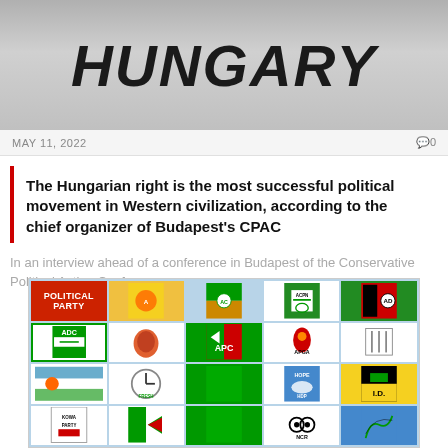[Figure (photo): Grey banner image with large bold italic text 'HUNGARY']
MAY 11, 2022
0 comments
The Hungarian right is the most successful political movement in Western civilization, according to the chief organizer of Budapest's CPAC
In an interview ahead of a conference in Budapest of the Conservative Political Action Conference…
[Figure (photo): Grid of Nigerian political party logos with 'POLITICAL PARTY' label in red, including ADC, APC, APGA, FRESH, HOPE HDP, I.D., KOWA PARTY, NCR and other party logos on blue background]